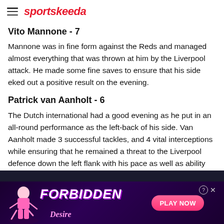sportskeeda
Vito Mannone - 7
Mannone was in fine form against the Reds and managed almost everything that was thrown at him by the Liverpool attack. He made some fine saves to ensure that his side eked out a positive result on the evening.
Patrick van Aanholt - 6
The Dutch international had a good evening as he put in an all-round performance as the left-back of his side. Van Aanholt made 3 successful tackles, and 4 vital interceptions while ensuring that he remained a threat to the Liverpool defence down the left flank with his pace as well as ability on the ball.
[Figure (advertisement): Forbidden Desire advertisement banner with pink figure, purple background, and PLAY NOW button]